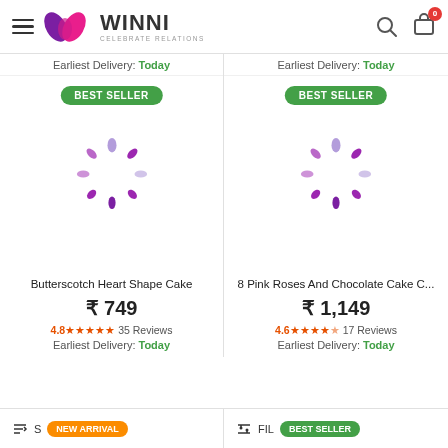WINNI CELEBRATE RELATIONS — navigation header with search and cart
Earliest Delivery: Today
Earliest Delivery: Today
[Figure (illustration): Loading spinner (purple dots) with BEST SELLER badge for Butterscotch Heart Shape Cake]
[Figure (illustration): Loading spinner (purple dots) with BEST SELLER badge for 8 Pink Roses And Chocolate Cake C...]
Butterscotch Heart Shape Cake
8 Pink Roses And Chocolate Cake C...
₹ 749
₹ 1,149
4.8★★★★★ 35 Reviews
4.6★★★★★ 17 Reviews
Earliest Delivery: Today
Earliest Delivery: Today
Sort — NEW ARRIVAL | Filter — BEST SELLER